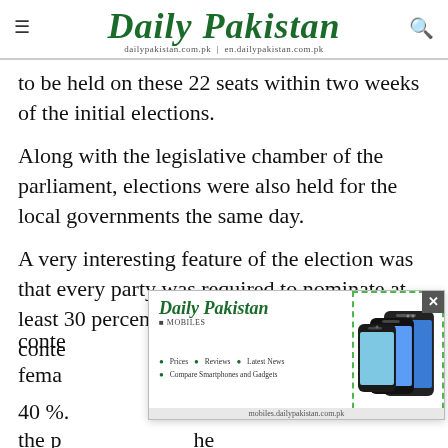Daily Pakistan | dailypakistan.com.pk | en.dailypakistan.com.pk
to be held on these 22 seats within two weeks of the initial elections.
Along with the legislative chamber of the parliament, elections were also held for the local governments the same day.
A very interesting feature of the election was that every party was required to nominate at least 30 percent women amongst its contestants. The number of female... s over 40 %... to the p... he
[Figure (screenshot): Daily Pakistan Mobiles advertisement popup overlay with logo, links for Prices, Reviews, Latest News, Compare Smartphones and Gadgets, and an image of mobile phones on the right side. URL: mobiles.dailypakistan.com.pk. Has a close (X) button.]